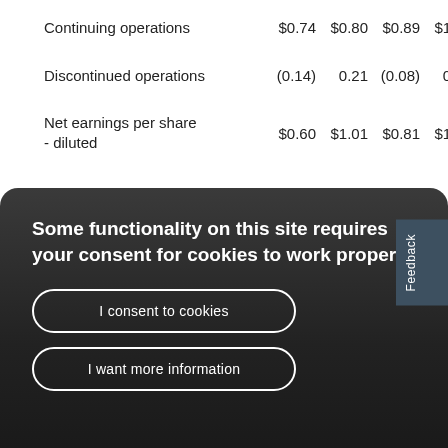| Continuing operations | $0.74 | $0.80 | $0.89 | $1.54 |
| Discontinued operations | (0.14) | 0.21 | (0.08) | 0.38 |
| Net earnings per share - diluted | $0.60 | $1.01 | $0.81 | $1.92 |
Some functionality on this site requires your consent for cookies to work properly.
I consent to cookies
I want more information
basic